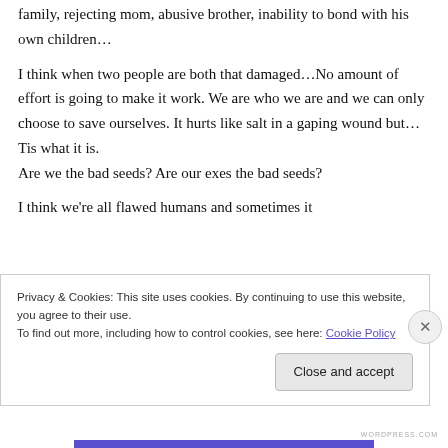family, rejecting mom, abusive brother, inability to bond with his own children…
I think when two people are both that damaged…No amount of effort is going to make it work. We are who we are and we can only choose to save ourselves. It hurts like salt in a gaping wound but…Tis what it is. Are we the bad seeds? Are our exes the bad seeds?
I think we're all flawed humans and sometimes it
Privacy & Cookies: This site uses cookies. By continuing to use this website, you agree to their use.
To find out more, including how to control cookies, see here: Cookie Policy